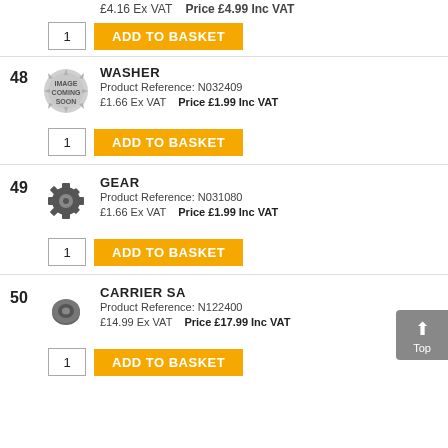£4.16 Ex VAT   Price £4.99 Inc VAT
1   ADD TO BASKET
48   WASHER   Product Reference: N032409   £1.66 Ex VAT   Price £1.99 Inc VAT
1   ADD TO BASKET
49   GEAR   Product Reference: N031080   £1.66 Ex VAT   Price £1.99 Inc VAT
1   ADD TO BASKET
50   CARRIER SA   Product Reference: N122400   £14.99 Ex VAT   Price £17.99 Inc VAT
1   ADD TO BASKET